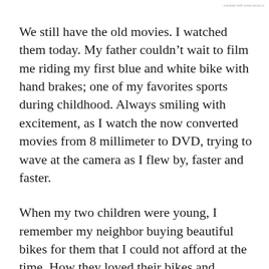created with www.book.io
We still have the old movies. I watched them today. My father couldn't wait to film me riding my first blue and white bike with hand brakes; one of my favorites sports during childhood. Always smiling with excitement, as I watch the now converted movies from 8 millimeter to DVD, trying to wave at the camera as I flew by, faster and faster.
When my two children were young, I remember my neighbor buying beautiful bikes for them that I could not afford at the time. How they loved their bikes and neighbor who has passed away. And all of us still ride today. Cheering occasionally, especially this year,